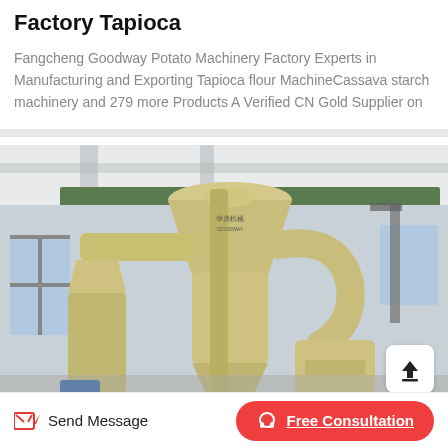Factory Tapioca
Fangcheng Goodway Potato Machinery Factory Experts in Manufacturing and Exporting Tapioca flour MachineCassava starch machinery and 279 more Products A Verified CN Gold Supplier on
[Figure (photo): Industrial tapioca/cassava starch processing machine (cyclone separator and mill) inside a factory building with white walls and ceiling beams. An upload icon button is in the bottom-right corner of the image.]
Send Message
Free Consultation